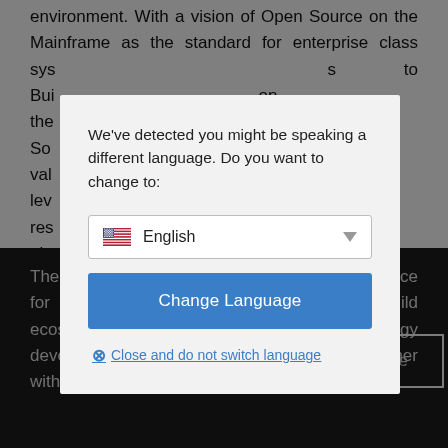environment. With a vision of Open Source on the Mainframe as the standard for enterprise class sys s to Bui on the pen So ing val ess lev and res ore abo at http
[Figure (screenshot): A browser modal dialog overlaying a web page. The modal shows a language selection prompt with 'We've detected you might be speaking a different language. Do you want to change to:' text, an English language dropdown with US flag, a blue 'Change Language' button, and a 'Close and do not switch language' link. The background shows page text partially obscured by a dark overlay and the modal. At the bottom are OK and Learn more buttons.]
The Linux F he organizat on of choice for the world' pers and com anies to build ecosystems that accelerate open technology development and commercial adoption. Together with